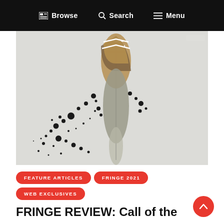Browse  Search  Menu
[Figure (photo): A feather with black ink splatters dispersing from it, photographed against a light grey background. The feather has brown and white striped patterns at the top and grey fluffy barbs at the bottom.]
FEATURE ARTICLES
FRINGE 2021
WEB EXCLUSIVES
FRINGE REVIEW: Call of the